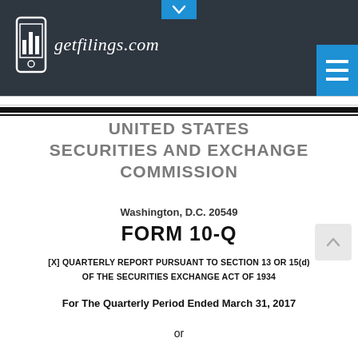[Figure (logo): getfilings.com logo with bar chart icon on dark header background]
UNITED STATES SECURITIES AND EXCHANGE COMMISSION
Washington, D.C. 20549
FORM 10-Q
[X] QUARTERLY REPORT PURSUANT TO SECTION 13 OR 15(d) OF THE SECURITIES EXCHANGE ACT OF 1934
For The Quarterly Period Ended March 31, 2017
or